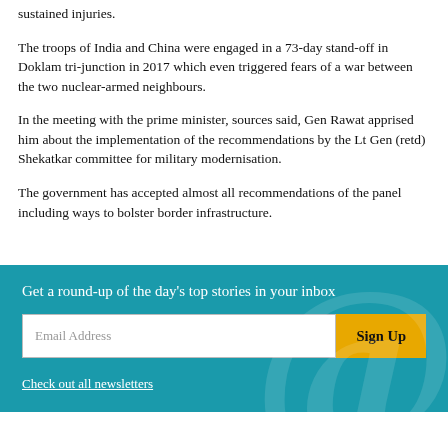sustained injuries.
The troops of India and China were engaged in a 73-day stand-off in Doklam tri-junction in 2017 which even triggered fears of a war between the two nuclear-armed neighbours.
In the meeting with the prime minister, sources said, Gen Rawat apprised him about the implementation of the recommendations by the Lt Gen (retd) Shekatkar committee for military modernisation.
The government has accepted almost all recommendations of the panel including ways to bolster border infrastructure.
Get a round-up of the day's top stories in your inbox
Email Address
Sign Up
Check out all newsletters